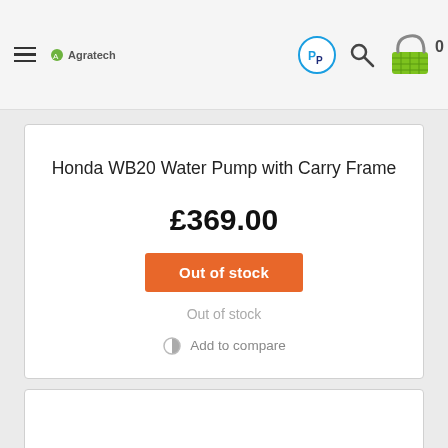Agratech - Navigation header with PayPal, search and cart icons
Honda WB20 Water Pump with Carry Frame
£369.00
Out of stock
Out of stock
Add to compare